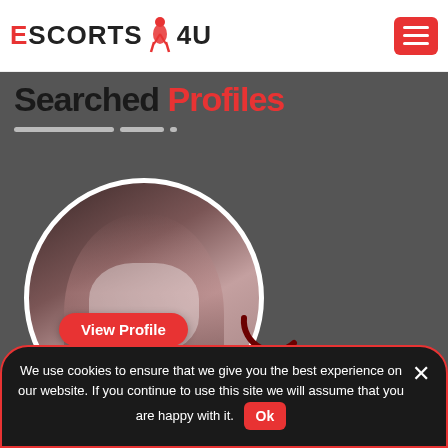ESCORTS4U — navigation header with hamburger menu
Searched Profiles
[Figure (photo): Circular profile photo of a woman in white lingerie on a dark background, with View Profile button, phone/SMS action icons, and name 'Amy' with price '£120' displayed below]
We use cookies to ensure that we give you the best experience on our website. If you continue to use this site we will assume that you are happy with it. Ok